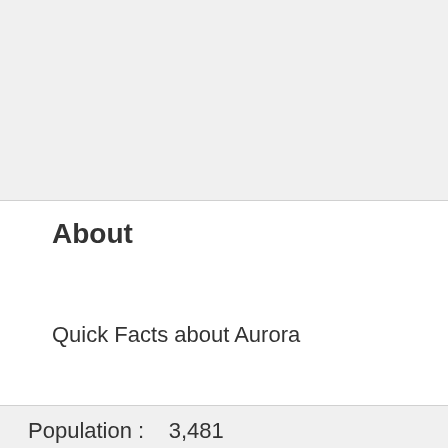About
Quick Facts about Aurora
Population :    3,481
. . ... . .